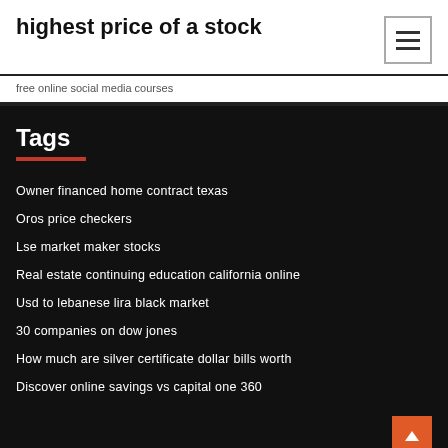highest price of a stock
free online social media courses
Tags
Owner financed home contract texas
Oros price checkers
Lse market maker stocks
Real estate continuing education california online
Usd to lebanese lira black market
30 companies on dow jones
How much are silver certificate dollar bills worth
Discover online savings vs capital one 360